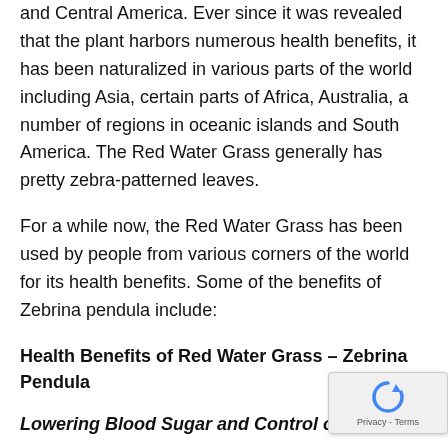and Central America. Ever since it was revealed that the plant harbors numerous health benefits, it has been naturalized in various parts of the world including Asia, certain parts of Africa, Australia, a number of regions in oceanic islands and South America. The Red Water Grass generally has pretty zebra-patterned leaves.
For a while now, the Red Water Grass has been used by people from various corners of the world for its health benefits. Some of the benefits of Zebrina pendula include:
Health Benefits of Red Water Grass – Zebrina Pendula
Lowering Blood Sugar and Control of Diabetes
One of the proven health benefits of the Red Water Grass is that it helps in reducing the blood sugar